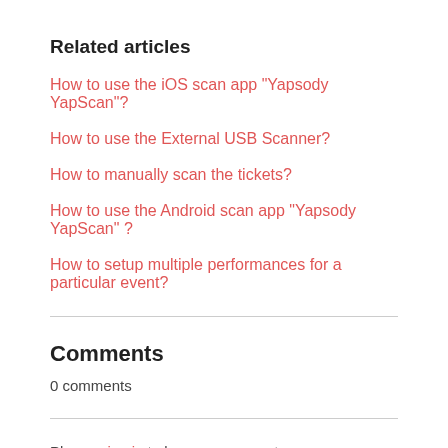Related articles
How to use the iOS scan app "Yapsody YapScan"?
How to use the External USB Scanner?
How to manually scan the tickets?
How to use the Android scan app "Yapsody YapScan" ?
How to setup multiple performances for a particular event?
Comments
0 comments
Please sign in to leave a comment.